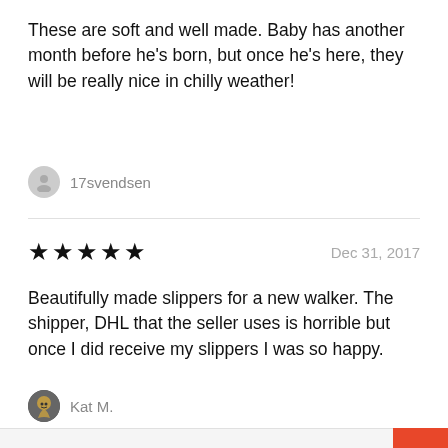These are soft and well made. Baby has another month before he's born, but once he's here, they will be really nice in chilly weather!
17svendsen
★★★★★  Dec 31, 2017
Beautifully made slippers for a new walker. The shipper, DHL that the seller uses is horrible but once I did receive my slippers I was so happy.
Kat M.